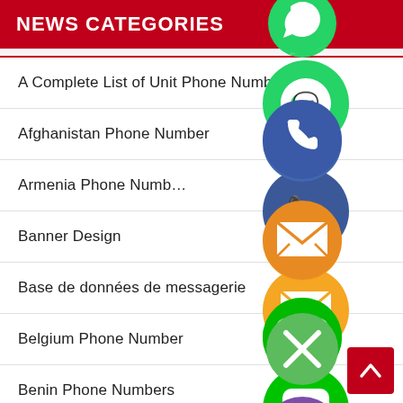NEWS CATEGORIES
A Complete List of Unit Phone Numbers
Afghanistan Phone Number
Armenia Phone Numb…
Banner Design
Base de données de messagerie
Belgium Phone Number
Benin Phone Numbers
[Figure (illustration): Social media sharing icons overlaid on the list: WhatsApp (green), phone/Viber (blue/purple), email (orange), LINE (green), Viber (purple), close/cancel (green), arranged vertically in the center-right area of the page.]